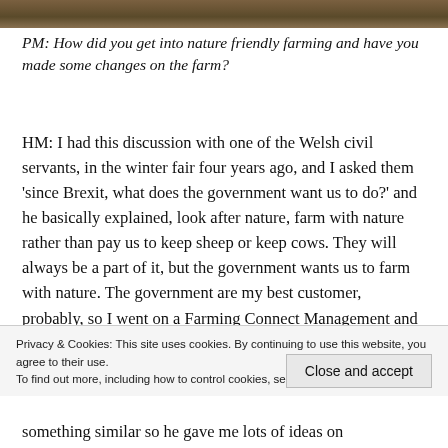[Figure (photo): Partial photo strip at top of page showing farm/nature landscape scene in brown and amber tones]
PM: How did you get into nature friendly farming and have you made some changes on the farm?
HM: I had this discussion with one of the Welsh civil servants, in the winter fair four years ago, and I asked them 'since Brexit, what does the government want us to do?' and he basically explained, look after nature, farm with nature rather than pay us to keep sheep or keep cows. They will always be a part of it, but the government wants us to farm with nature. The government are my best customer, probably, so I went on a Farming Connect Management and
Privacy & Cookies: This site uses cookies. By continuing to use this website, you agree to their use.
To find out more, including how to control cookies, see here: Cookie Policy
Close and accept
something similar so he gave me lots of ideas on